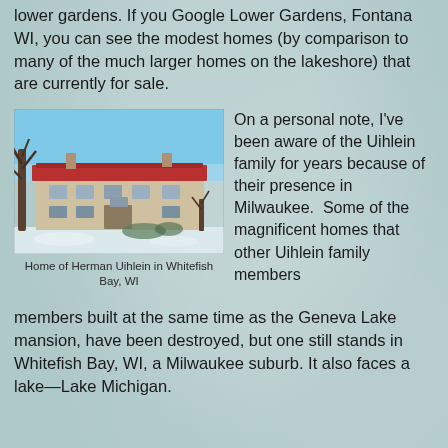lower gardens. If you Google Lower Gardens, Fontana WI, you can see the modest homes (by comparison to many of the much larger homes on the lakeshore) that are currently for sale.
[Figure (photo): Photograph of the Home of Herman Uihlein in Whitefish Bay, WI. A large beige/tan multi-story mansion with a red/terracotta roof, photographed in winter with bare trees and snow on the ground, under a blue sky.]
Home of Herman Uihlein in Whitefish Bay, WI
On a personal note, I've been aware of the Uihlein family for years because of their presence in Milwaukee.  Some of the magnificent homes that other Uihlein family members built at the same time as the Geneva Lake mansion, have been destroyed, but one still stands in Whitefish Bay, WI, a Milwaukee suburb. It also faces a lake—Lake Michigan.